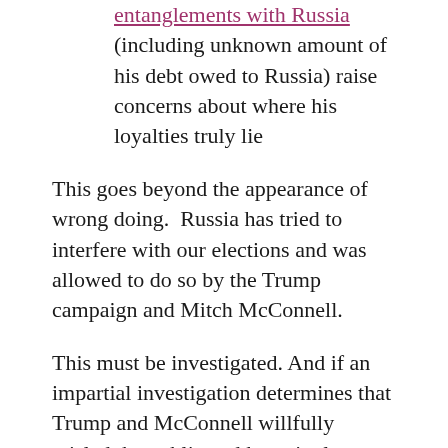entanglements with Russia (including unknown amount of his debt owed to Russia) raise concerns about where his loyalties truly lie
This goes beyond the appearance of wrong doing.  Russia has tried to interfere with our elections and was allowed to do so by the Trump campaign and Mitch McConnell.
This must be investigated. And if an impartial investigation determines that Trump and McConnell willfully misled the public and knowingly accepted help from Russia, they need to be charged.
Their behavior is the most dangerous threat to the